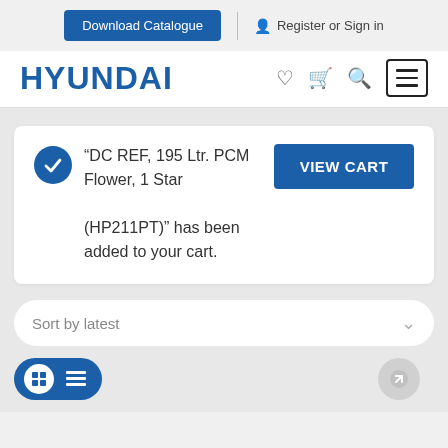Download Catalogue | Register or Sign in
[Figure (logo): Hyundai logo in blue bold text]
"DC REF, 195 Ltr. PCM Flower, 1 Star (HP211PT)" has been added to your cart.
VIEW CART
Sort by latest